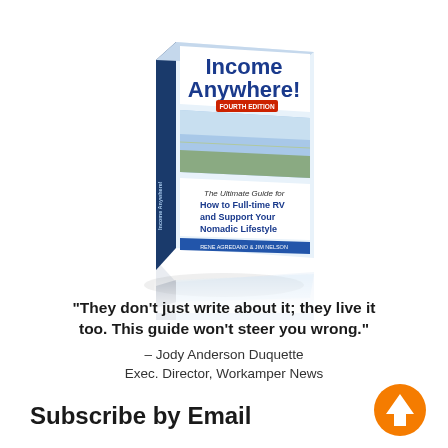[Figure (illustration): 3D book cover of 'Income Anywhere! Fourth Edition - The Ultimate Guide for How to Full-time RV and Support Your Nomadic Lifestyle' with reflection below]
“They don’t just write about it; they live it too. This guide won’t steer you wrong.” – Jody Anderson Duquette Exec. Director, Workamper News
Subscribe by Email